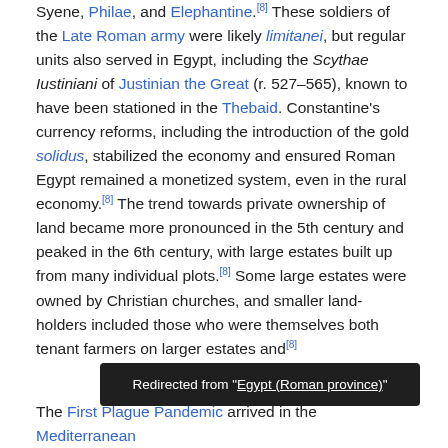Syene, Philae, and Elephantine.[8] These soldiers of the Late Roman army were likely limitanei, but regular units also served in Egypt, including the Scythae Iustiniani of Justinian the Great (r. 527–565), known to have been stationed in the Thebaid. Constantine's currency reforms, including the introduction of the gold solidus, stabilized the economy and ensured Roman Egypt remained a monetized system, even in the rural economy.[8] The trend towards private ownership of land became more pronounced in the 5th century and peaked in the 6th century, with large estates built up from many individual plots.[8] Some large estates were owned by Christian churches, and smaller land-holders included those who were themselves both tenant farmers on larger estates and [8]
Redirected from "Egypt (Roman province)"
The First Plague Pandemic arrived in the Mediterranean